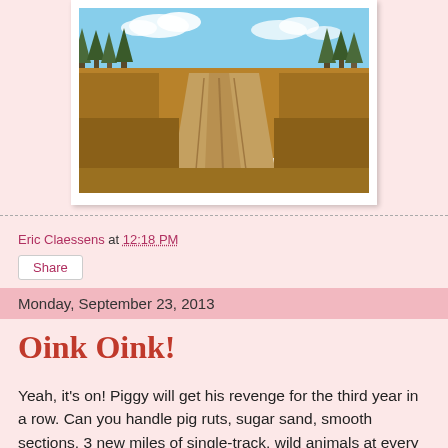[Figure (photo): A dirt road or trail running through dry grassland with pine trees visible in the background under a blue sky with clouds.]
Eric Claessens at 12:18 PM
Share
Monday, September 23, 2013
Oink Oink!
Yeah, it's on! Piggy will get his revenge for the third year in a row. Can you handle pig ruts, sugar sand, smooth sections, 3 new miles of single-track, wild animals at every turn, nice cool weather, like minded